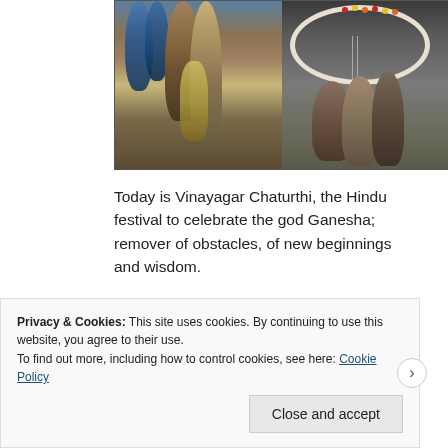[Figure (photo): Two photographs side by side showing feathers and a dreamcatcher. Left: colorful feathers (blue, brown, tan, yellow). Right: a dreamcatcher with white beaded ring, red/yellow/orange beads, and dangling feathers.]
Today is Vinayagar Chaturthi, the Hindu festival to celebrate the god Ganesha; remover of obstacles, of new beginnings and wisdom.
Privacy & Cookies: This site uses cookies. By continuing to use this website, you agree to their use.
To find out more, including how to control cookies, see here: Cookie Policy
Close and accept